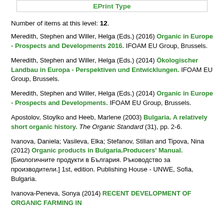EPrint Type
Number of items at this level: 12.
Meredith, Stephen and Willer, Helga (Eds.) (2016) Organic in Europe - Prospects and Developments 2016. IFOAM EU Group, Brussels.
Meredith, Stephen and Willer, Helga (Eds.) (2014) Ökologischer Landbau in Europa - Perspektiven und Entwicklungen. IFOAM EU Group, Brussels.
Meredith, Stephen and Willer, Helga (Eds.) (2014) Organic in Europe - Prospects and Developments. IFOAM EU Group, Brussels.
Apostolov, Stoylko and Heeb, Marlene (2003) Bulgaria. A relatively short organic history. The Organic Standard (31), pp. 2-6.
Ivanova, Daniela; Vasileva, Elka; Stefanov, Stilian and Tipova, Nina (2012) Organic products in Bulgaria.Producers' Manual. [Биологичните продукти в България. Ръководство за производители.] 1st, edition. Publishing House - UNWE, Sofia, Bulgaria.
Ivanova-Peneva, Sonya (2014) RECENT DEVELOPMENT OF ORGANIC FARMING IN